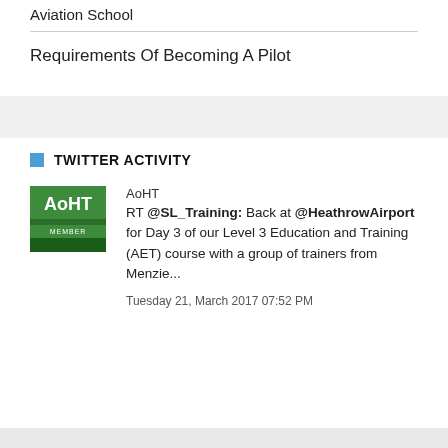Aviation School
Requirements Of Becoming A Pilot
TWITTER ACTIVITY
AoHT
RT @SL_Training: Back at @HeathrowAirport for Day 3 of our Level 3 Education and Training (AET) course with a group of trainers from Menzie...
Tuesday 21, March 2017 07:52 PM